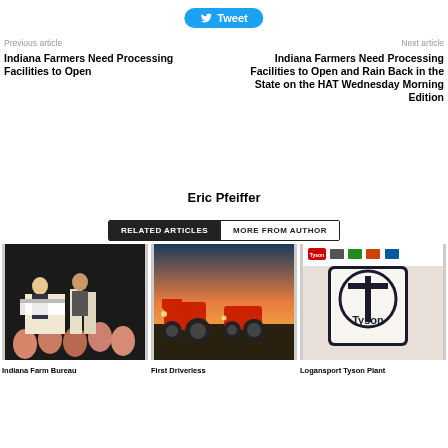[Figure (other): Twitter Tweet button with bird icon]
Previous article
Next article
Indiana Farmers Need Processing Facilities to Open
Indiana Farmers Need Processing Facilities to Open and Rain Back in the State on the HAT Wednesday Morning Edition
Eric Pfeiffer
RELATED ARTICLES
MORE FROM AUTHOR
[Figure (photo): Indiana Farm Bureau event photo with people at a conference]
[Figure (photo): First Driverless tractor in field at sunset]
[Figure (photo): Logansport Tyson Plant - Tyson logo on phone screen]
Indiana Farm Bureau
First Driverless
Logansport Tyson Plant